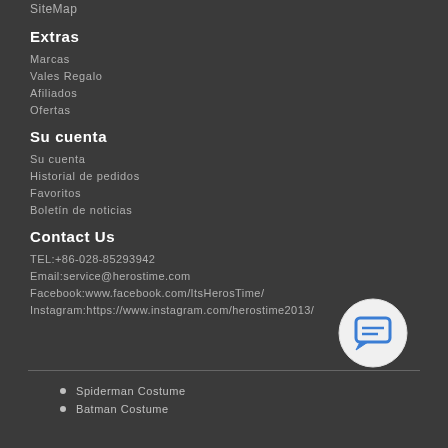SiteMap
Extras
Marcas
Vales Regalo
Afiliados
Ofertas
Su cuenta
Su cuenta
Historial de pedidos
Favoritos
Boletín de noticias
Contact Us
TEL:+86-028-85293942
Email:service@herostime.com
Facebook:www.facebook.com/ItsHerosTime/
Instagram:https://www.instagram.com/herostime2013/
[Figure (illustration): Chat support icon - circular button with speech bubble icon in blue]
Spiderman Costume
Batman Costume